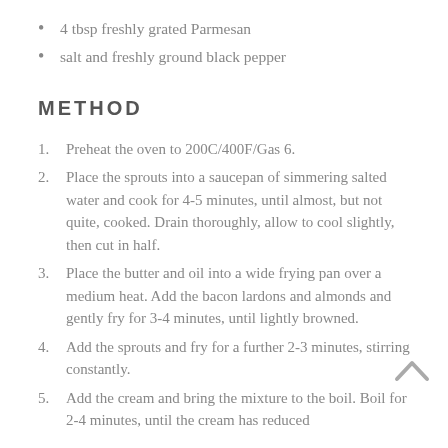4 tbsp freshly grated Parmesan
salt and freshly ground black pepper
METHOD
Preheat the oven to 200C/400F/Gas 6.
Place the sprouts into a saucepan of simmering salted water and cook for 4-5 minutes, until almost, but not quite, cooked. Drain thoroughly, allow to cool slightly, then cut in half.
Place the butter and oil into a wide frying pan over a medium heat. Add the bacon lardons and almonds and gently fry for 3-4 minutes, until lightly browned.
Add the sprouts and fry for a further 2-3 minutes, stirring constantly.
Add the cream and bring the mixture to the boil. Boil for 2-4 minutes, until the cream has reduced